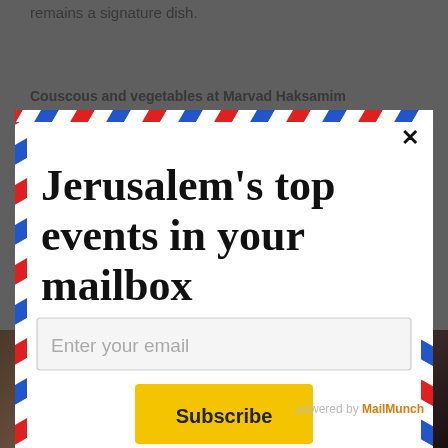remains a signature dish.
Couscous and vegetables at Marvad Haksamim
[Figure (screenshot): Email subscription modal popup with air-mail decorative border. Contains title 'Jerusalem's top events in your mailbox', an email input field, a yellow Subscribe button, and unsubscribe note. Overlaid on a webpage about Jerusalem food.]
You can unsubscribe at anytime.
powered by MailMunch